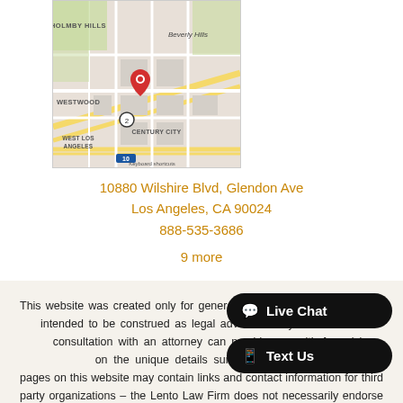[Figure (map): Google map showing Beverly Hills area with red location pin marker near intersection of Wilshire Blvd and Glendon Ave, showing neighborhoods: Holmby Hills, Beverly Hills, Westwood, Century City, West Los Angeles]
10880 Wilshire Blvd, Glendon Ave
Los Angeles, CA 90024
888-535-3686
9 more
This website was created only for general information p... intended to be construed as legal advice for any situati... consultation with an attorney can provide you with formal l... on the unique details surrounding your situation. The pages on this website may contain links and contact information for third party organizations – the Lento Law Firm does not necessarily endorse these organizations nor the materials contained on their website. The decision to hire an attorney should